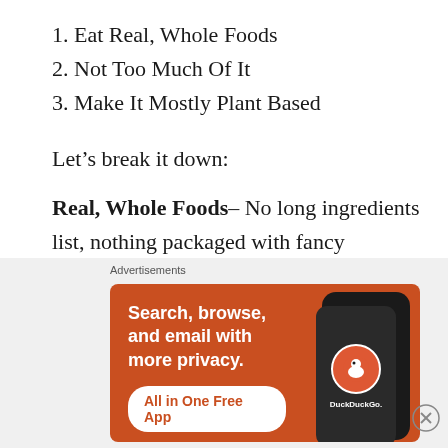1. Eat Real, Whole Foods
2. Not Too Much Of It
3. Make It Mostly Plant Based
Let’s break it down:
Real, Whole Foods– No long ingredients list, nothing packaged with fancy advertising on the front. Nothing that is overly processed.
You know chicken is chicken. Bananas are
[Figure (screenshot): DuckDuckGo advertisement banner with orange background. Text reads: Search, browse, and email with more privacy. All in One Free App. Shows DuckDuckGo logo on a phone mockup.]